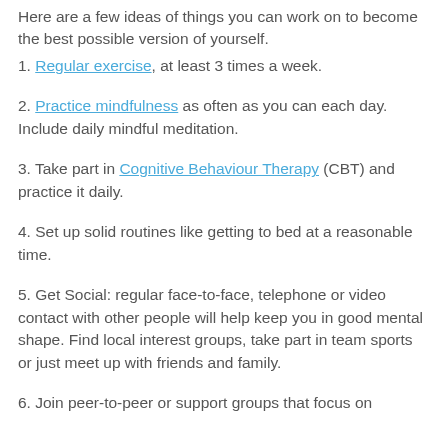Here are a few ideas of things you can work on to become the best possible version of yourself.
1. Regular exercise, at least 3 times a week.
2. Practice mindfulness as often as you can each day. Include daily mindful meditation.
3. Take part in Cognitive Behaviour Therapy (CBT) and practice it daily.
4. Set up solid routines like getting to bed at a reasonable time.
5. Get Social: regular face-to-face, telephone or video contact with other people will help keep you in good mental shape. Find local interest groups, take part in team sports or just meet up with friends and family.
6. Join peer-to-peer or support groups that focus on